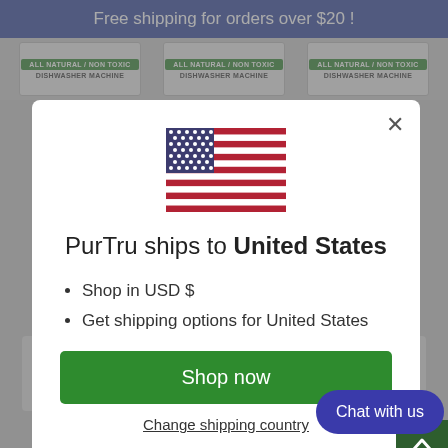Free shipping for orders over $20 !
[Figure (screenshot): Background showing product cards with green labels reading ALL NATURAL / NON TOXIC / DISHWASHER MACHINE]
[Figure (illustration): US flag emoji/icon]
PurTru ships to United States
Shop in USD $
Get shipping options for United States
Shop now
Change shipping country
Chat with us